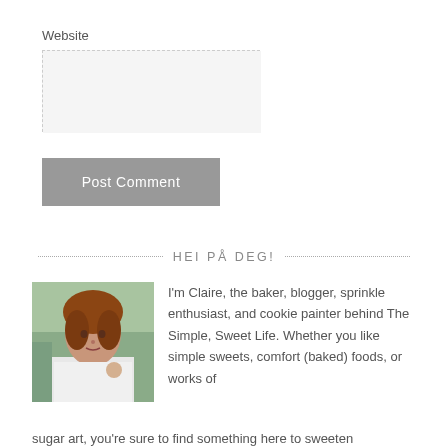Website
[Figure (screenshot): Empty text input box for Website field, light gray background with dashed border]
[Figure (screenshot): Gray 'Post Comment' button]
HEI PÅ DEG!
[Figure (photo): Photo of Claire, a woman with reddish-brown hair wearing a white top, holding something small, outdoors with greenery in background]
I'm Claire, the baker, blogger, sprinkle enthusiast, and cookie painter behind The Simple, Sweet Life. Whether you like simple sweets, comfort (baked) foods, or works of sugar art, you're sure to find something here to sweeten
sugar art, you're sure to find something here to sweeten